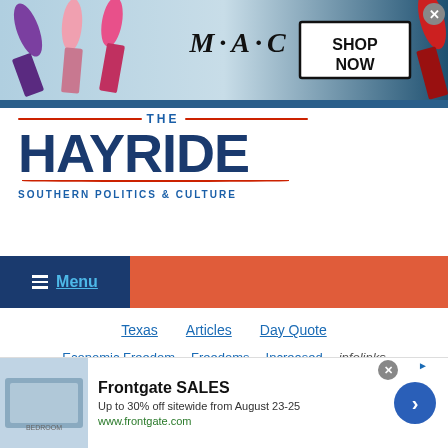[Figure (screenshot): MAC Cosmetics advertisement banner with lipsticks and SHOP NOW box]
THE HAYRIDE — SOUTHERN POLITICS & CULTURE
Menu
Texas   Articles   Day Quote
Economic Freedom   Freedoms   Increased   infolinks
[Figure (other): Partial US state map graphic]
[Figure (screenshot): Frontgate SALES ad — Up to 30% off sitewide from August 23-25, www.frontgate.com]